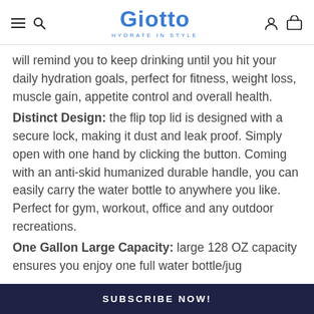Giotto — HYDRATE IN STYLE
will remind you to keep drinking until you hit your daily hydration goals, perfect for fitness, weight loss, muscle gain, appetite control and overall health. Distinct Design: the flip top lid is designed with a secure lock, making it dust and leak proof. Simply open with one hand by clicking the button. Coming with an anti-skid humanized durable handle, you can easily carry the water bottle to anywhere you like. Perfect for gym, workout, office and any outdoor recreations. One Gallon Large Capacity: large 128 OZ capacity ensures you enjoy one full water bottle/jug
SUBSCRIBE NOW!